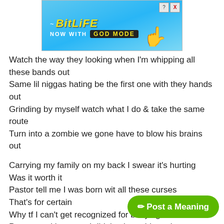[Figure (screenshot): BitLife mobile game advertisement banner showing 'BitLife NOW WITH GOD MODE' text on a blue background with cartoon hand pointing]
Watch the way they looking when I'm whipping all these bands out
Same lil niggas hating be the first one with they hands out
Grinding by myself watch what I do & take the same route
Turn into a zombie we gone have to blow his brains out
Carrying my family on my back I swear it's hurting
Was it worth it
Pastor tell me I was born wit all these curses
That's for certain
Why tf I can't get recognized for bodying these verses
Pray to god because I didn't take a ride up in em hearses
Turn me up I'm back in demon time
Everything I did throughout my li...
Got I call from tk my nigga told me I can't stop this shit